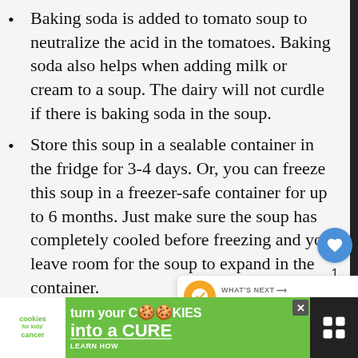Baking soda is added to tomato soup to neutralize the acid in the tomatoes. Baking soda also helps when adding milk or cream to a soup. The dairy will not curdle if there is baking soda in the soup.
Store this soup in a sealable container in the fridge for 3-4 days. Or, you can freeze this soup in a freezer-safe container for up to 6 months. Just make sure the soup has completely cooled before freezing and you leave room for the soup to expand in the container.
Instead of cooking the onions in butter, you can use your favorite cooking oil like olive oil or coconut oil. And, if you are really looking to substitute it ... ad
[Figure (infographic): Ad banner at bottom: green background with 'cookies for kids cancer' logo, text 'turn your COOKIESminto a CURE LEARN HOW' with a close button and dark icon on right]